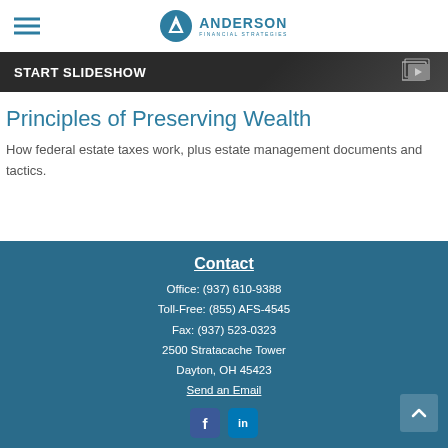Anderson Financial Strategies
[Figure (screenshot): Dark banner with text START SLIDESHOW and slideshow/video icon on the right]
Principles of Preserving Wealth
How federal estate taxes work, plus estate management documents and tactics.
Contact
Office: (937) 610-9388
Toll-Free: (855) AFS-4545
Fax: (937) 523-0323
2500 Stratacache Tower
Dayton, OH 45423
Send an Email